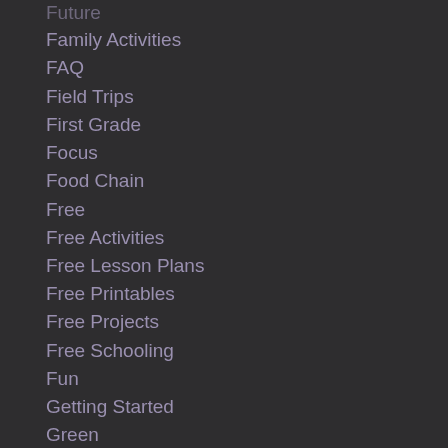Future
Family Activities
FAQ
Field Trips
First Grade
Focus
Food Chain
Free
Free Activities
Free Lesson Plans
Free Printables
Free Projects
Free Schooling
Fun
Getting Started
Green
Gym
Hands-on
Hands On Schooling
Hands-on Schooling
Handy Hints